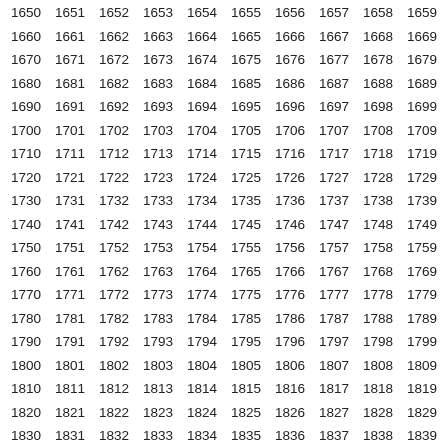| 1650 | 1651 | 1652 | 1653 | 1654 | 1655 | 1656 | 1657 | 1658 | 1659 |
| 1660 | 1661 | 1662 | 1663 | 1664 | 1665 | 1666 | 1667 | 1668 | 1669 |
| 1670 | 1671 | 1672 | 1673 | 1674 | 1675 | 1676 | 1677 | 1678 | 1679 |
| 1680 | 1681 | 1682 | 1683 | 1684 | 1685 | 1686 | 1687 | 1688 | 1689 |
| 1690 | 1691 | 1692 | 1693 | 1694 | 1695 | 1696 | 1697 | 1698 | 1699 |
| 1700 | 1701 | 1702 | 1703 | 1704 | 1705 | 1706 | 1707 | 1708 | 1709 |
| 1710 | 1711 | 1712 | 1713 | 1714 | 1715 | 1716 | 1717 | 1718 | 1719 |
| 1720 | 1721 | 1722 | 1723 | 1724 | 1725 | 1726 | 1727 | 1728 | 1729 |
| 1730 | 1731 | 1732 | 1733 | 1734 | 1735 | 1736 | 1737 | 1738 | 1739 |
| 1740 | 1741 | 1742 | 1743 | 1744 | 1745 | 1746 | 1747 | 1748 | 1749 |
| 1750 | 1751 | 1752 | 1753 | 1754 | 1755 | 1756 | 1757 | 1758 | 1759 |
| 1760 | 1761 | 1762 | 1763 | 1764 | 1765 | 1766 | 1767 | 1768 | 1769 |
| 1770 | 1771 | 1772 | 1773 | 1774 | 1775 | 1776 | 1777 | 1778 | 1779 |
| 1780 | 1781 | 1782 | 1783 | 1784 | 1785 | 1786 | 1787 | 1788 | 1789 |
| 1790 | 1791 | 1792 | 1793 | 1794 | 1795 | 1796 | 1797 | 1798 | 1799 |
| 1800 | 1801 | 1802 | 1803 | 1804 | 1805 | 1806 | 1807 | 1808 | 1809 |
| 1810 | 1811 | 1812 | 1813 | 1814 | 1815 | 1816 | 1817 | 1818 | 1819 |
| 1820 | 1821 | 1822 | 1823 | 1824 | 1825 | 1826 | 1827 | 1828 | 1829 |
| 1830 | 1831 | 1832 | 1833 | 1834 | 1835 | 1836 | 1837 | 1838 | 1839 |